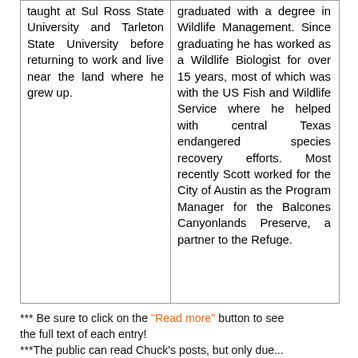taught at Sul Ross State University and Tarleton State University before returning to work and live near the land where he grew up.
graduated with a degree in Wildlife Management. Since graduating he has worked as a Wildlife Biologist for over 15 years, most of which was with the US Fish and Wildlife Service where he helped with central Texas endangered species recovery efforts. Most recently Scott worked for the City of Austin as the Program Manager for the Balcones Canyonlands Preserve, a partner to the Refuge.
*** Be sure to click on the "Read more" button to see the full text of each entry!
***The public can read Chuck's posts, but only due...